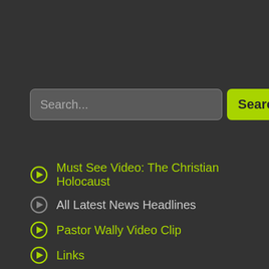[Figure (screenshot): Search input field with placeholder text 'Search...' and a green 'Search' button]
Must See Video: The Christian Holocaust
All Latest News Headlines
Pastor Wally Video Clip
Links
Donate
PrayForTheNine
Resources